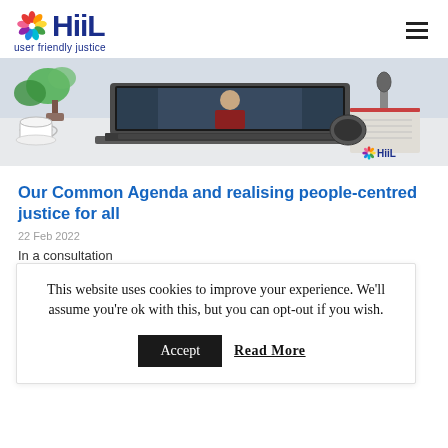HiiL — user friendly justice
[Figure (photo): Hero image showing a laptop on a desk with a video call in progress, a coffee cup and plant on the left, notebook and microphone on the right, with HiiL logo watermark at bottom right.]
Our Common Agenda and realising people-centred justice for all
22 Feb 2022
In a consultation
This website uses cookies to improve your experience. We'll assume you're ok with this, but you can opt-out if you wish. Accept Read More